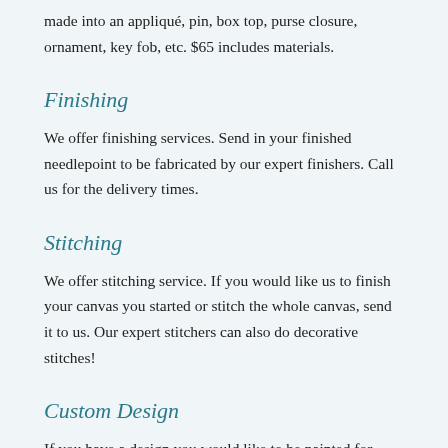made into an appliqué, pin, box top, purse closure, ornament, key fob, etc. $65 includes materials.
Finishing
We offer finishing services. Send in your finished needlepoint to be fabricated by our expert finishers. Call us for the delivery times.
Stitching
We offer stitching service. If you would like us to finish your canvas you started or stitch the whole canvas, send it to us. Our expert stitchers can also do decorative stitches!
Custom Design
If you have a design you would like to be painted for your, such as your dog, cat, bird, fish, house, boat, etc., send the picture. We